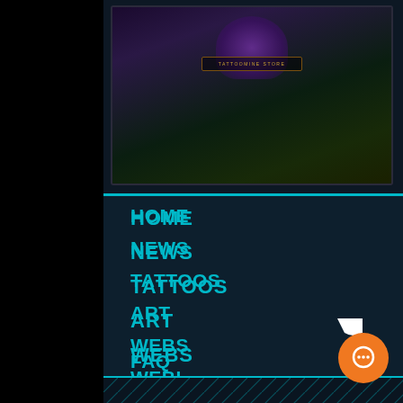[Figure (screenshot): Website navigation menu on dark background with teal/cyan colored navigation items: HOME, NEWS, TATTOOS, ART, WEBS(ITES), WEBI(NARS), SHOP, FAQ. A live chat popup is visible with a close button and a message: 'Welcome! If there is any way I can help, just let me know here.' An orange chat button is in the bottom right.]
HOME
NEWS
TATTOOS
ART
WEBS
WEBI
SHOP
FAQ
close
Welcome! If there is any way I can help, just let me know here.